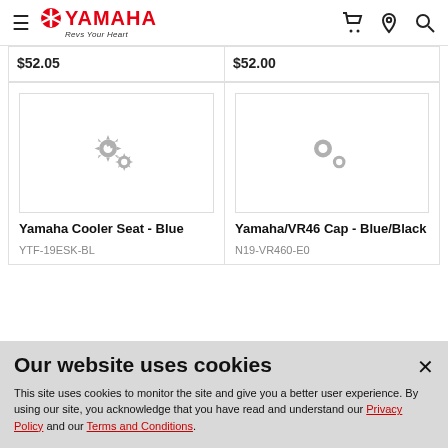Yamaha - Revs Your Heart
$52.05
$52.00
[Figure (screenshot): Product placeholder image with gear icons for Yamaha Cooler Seat - Blue]
Yamaha Cooler Seat - Blue
YTF-19ESK-BL
[Figure (screenshot): Product placeholder image with gear icons for Yamaha/VR46 Cap - Blue/Black]
Yamaha/VR46 Cap - Blue/Black
N19-VR460-E0
Our website uses cookies
This site uses cookies to monitor the site and give you a better user experience. By using our site, you acknowledge that you have read and understand our Privacy Policy and our Terms and Conditions.